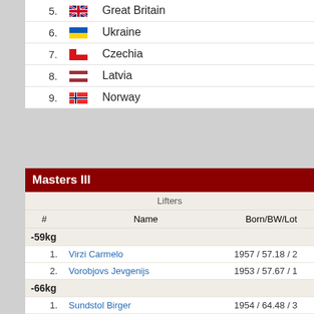| # |  | Country |
| --- | --- | --- |
| 5. | GB flag | Great Britain |
| 6. | UA flag | Ukraine |
| 7. | CZ flag | Czechia |
| 8. | LV flag | Latvia |
| 9. | NO flag | Norway |
Masters III
| # | Name | Born/BW/Lot |
| --- | --- | --- |
| -59kg |  |  |
| 1. | Virzi Carmelo | 1957 / 57.18 / 2 |
| 2. | Vorobjovs Jevgenijs | 1953 / 57.67 / 1 |
| -66kg |  |  |
| 1. | Sundstol Birger | 1954 / 64.48 / 3 |
| -74kg |  |  |
| 1. | Motovilnik Vasilii | 1957 / 73.54 / 5 |
| 2. | Kauranen Antero | 1948 / 73.25 / 4 |
| -83kg |  |  |
| 1. | Hakkinen Reima | 1950 / 81.97 / 10 |
| 2. | Hirner Arthur | 1957 / 82.88 / 7 |
| 3. | Thorngren Sven | 1950 / 81.52 / 6 |
| 4. | Laas Mihkel | 1954 / 82.02 / 9 |
| -93kg |  |  |